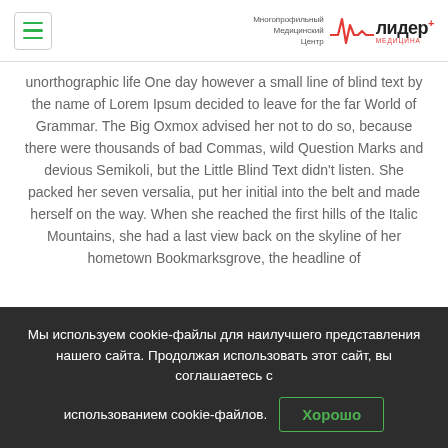Многопрофильный Медицинский Центр Лидер медицина
unorthographic life One day however a small line of blind text by the name of Lorem Ipsum decided to leave for the far World of Grammar. The Big Oxmox advised her not to do so, because there were thousands of bad Commas, wild Question Marks and devious Semikoli, but the Little Blind Text didn't listen. She packed her seven versalia, put her initial into the belt and made herself on the way. When she reached the first hills of the Italic Mountains, she had a last view back on the skyline of her hometown Bookmarksgrove, the headline of
Мы используем cookie-файлы для наилучшего представления нашего сайта. Продолжая использовать этот сайт, вы соглашаетесь с использованием cookie-файлов. Хорошо